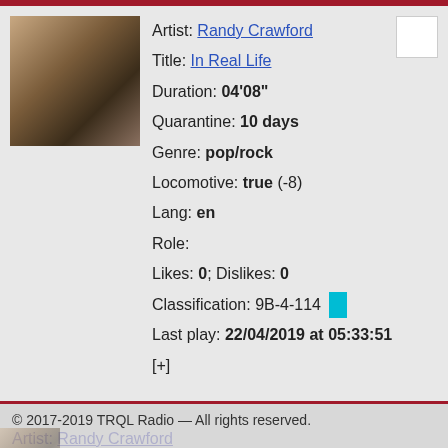[Figure (photo): Album cover thumbnail for Randy Crawford - In Real Life]
Artist: Randy Crawford
Title: In Real Life
Duration: 04'08"
Quarantine: 10 days
Genre: pop/rock
Locomotive: true (-8)
Lang: en
Role:
Likes: 0; Dislikes: 0
Classification: 9B-4-114
Last play: 22/04/2019 at 05:33:51
[+]
© 2017-2019 TRQL Radio — All rights reserved.